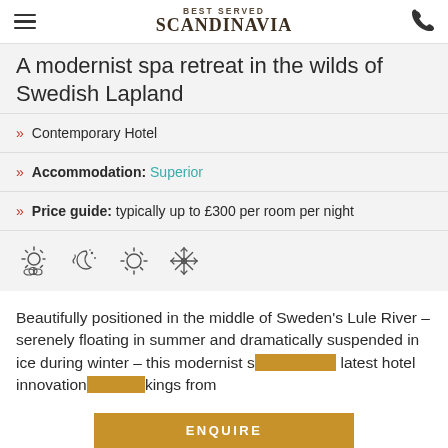BEST SERVED SCANDINAVIA
A modernist spa retreat in the wilds of Swedish Lapland
» Contemporary Hotel
» Accommodation: Superior
» Price guide: typically up to £300 per room per night
[Figure (illustration): Four season/weather icons: spring sun with clouds, moon/stars, summer sun, snowflake/winter]
Beautifully positioned in the middle of Sweden's Lule River – serenely floating in summer and dramatically suspended in ice during winter – this modernist s... latest hotel innovation... kings from